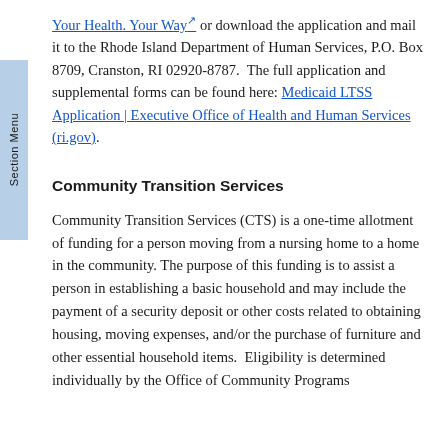Your Health. Your Way [external link] or download the application and mail it to the Rhode Island Department of Human Services, P.O. Box 8709, Cranston, RI 02920-8787.  The full application and supplemental forms can be found here: Medicaid LTSS Application | Executive Office of Health and Human Services (ri.gov).
Community Transition Services
Community Transition Services (CTS) is a one-time allotment of funding for a person moving from a nursing home to a home in the community. The purpose of this funding is to assist a person in establishing a basic household and may include the payment of a security deposit or other costs related to obtaining housing, moving expenses, and/or the purchase of furniture and other essential household items.  Eligibility is determined individually by the Office of Community Programs